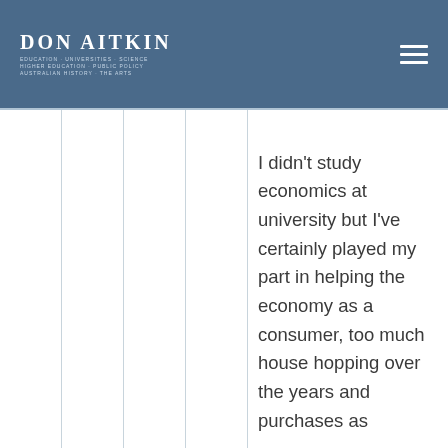DON AITKIN
I didn't study economics at university but I've certainly played my part in helping the economy as a consumer, too much house hopping over the years and purchases as